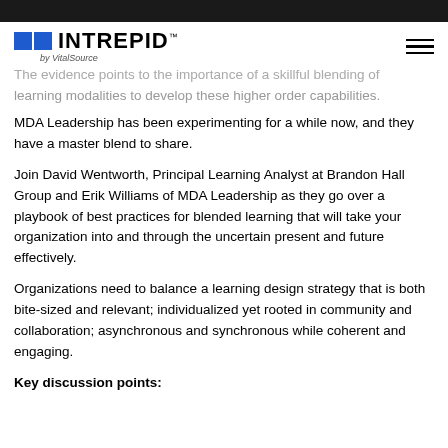INTREPID™ by VitalSource
The evidence points to the importance of a skillful blending of learning modalities to develop these higher order capabilities. MDA Leadership has been experimenting for a while now, and they have a master blend to share.
Join David Wentworth, Principal Learning Analyst at Brandon Hall Group and Erik Williams of MDA Leadership as they go over a playbook of best practices for blended learning that will take your organization into and through the uncertain present and future effectively.
Organizations need to balance a learning design strategy that is both bite-sized and relevant; individualized yet rooted in community and collaboration; asynchronous and synchronous while coherent and engaging.
Key discussion points: